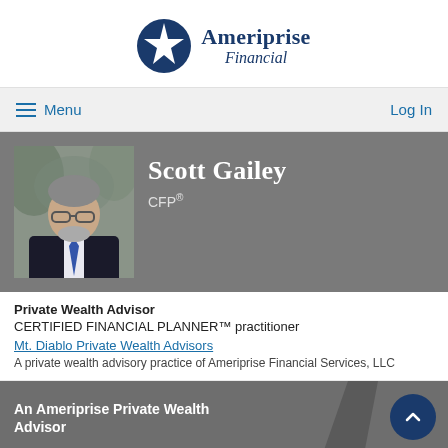[Figure (logo): Ameriprise Financial logo with star icon and wordmark]
Menu  Log In
[Figure (photo): Professional headshot of Scott Gailey, a middle-aged man with gray hair and glasses wearing a dark suit and blue tie]
Scott Gailey
CFP®
Private Wealth Advisor
CERTIFIED FINANCIAL PLANNER™ practitioner
Mt. Diablo Private Wealth Advisors
A private wealth advisory practice of Ameriprise Financial Services, LLC
An Ameriprise Private Wealth Advisor
925 295 1900